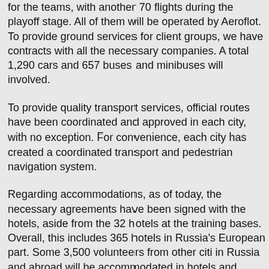for the teams, with another 70 flights during the playoff stage. All of them will be operated by Aeroflot. To provide ground services for client groups, we have contracts with all the necessary companies. A total 1,290 cars and 657 buses and minibuses will involved.
To provide quality transport services, official routes have been coordinated and approved in each city, with no exception. For convenience, each city has created a coordinated transport and pedestrian navigation system.
Regarding accommodations, as of today, the necessary agreements have been signed with the hotels, aside from the 32 hotels at the training bases. Overall, this includes 365 hotels in Russia's European part. Some 3,500 volunteers from other cities in Russia and abroad will be accommodated in hotels and university dormitories.
Concerning security issues, we are clearly aware of our tasks. The Organising Committee has signed agreements with 12